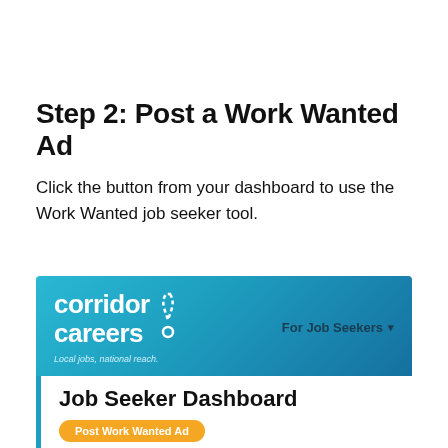Step 2: Post a Work Wanted Ad
Click the button from your dashboard to use the Work Wanted job seeker tool.
[Figure (screenshot): Screenshot of Corridor Careers website showing the Job Seeker Dashboard with a 'Post Work Wanted Ad' orange button and a Career Fair ad banner at the bottom reading 'Find your job joy — Career Fair Thurs., Sept. 8th']